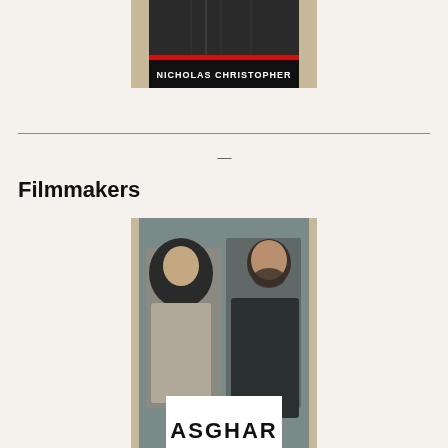[Figure (photo): Photo of a book cover with text 'NICHOLAS CHRISTOPHER' visible on a dark background with a red stripe]
Filmmakers
[Figure (photo): Book cover showing two people seated — a woman in a headscarf and a bearded man — with text 'ASGHAR' visible at the bottom]